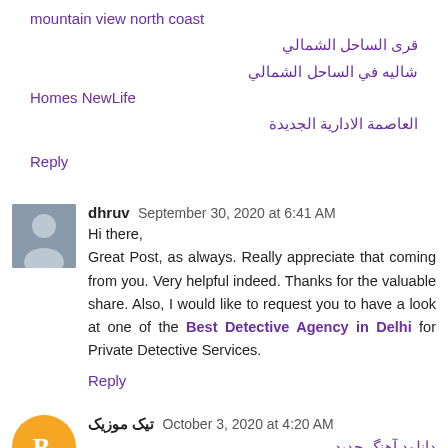mountain view north coast
قرى الساحل الشمالي
شاليه في الساحل الشمالي
Homes NewLife
العاصمة الادارية الجديدة
Reply
dhruv  September 30, 2020 at 6:41 AM
Hi there,
Great Post, as always. Really appreciate that coming from you. Very helpful indeed. Thanks for the valuable share. Also, I would like to request you to have a look at one of the Best Detective Agency in Delhi for Private Detective Services.
Reply
تیک موزیک  October 3, 2020 at 4:20 AM
دانلود آهنگ جدید